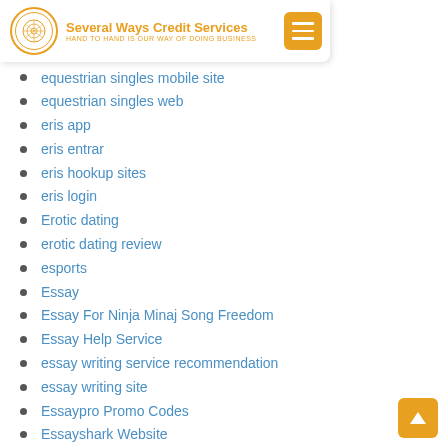Several Ways Credit Services — HAND TO HAND IS OUR WAY OF DOING BUSINESS
equestrian singles mobile site
equestrian singles web
eris app
eris entrar
eris hookup sites
eris login
Erotic dating
erotic dating review
esports
Essay
Essay For Ninja Minaj Song Freedom
Essay Help Service
essay writing service recommendation
essay writing site
Essaypro Promo Codes
Essayshark Website
Established Men dating
Established Men review
Established Men reviews